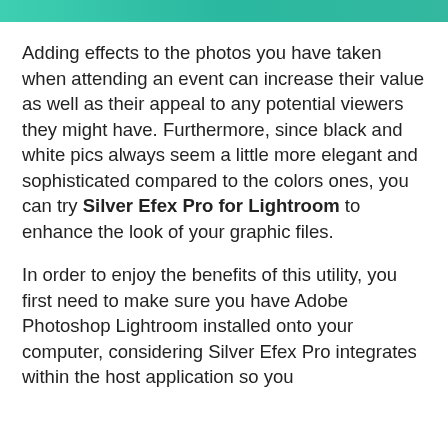Adding effects to the photos you have taken when attending an event can increase their value as well as their appeal to any potential viewers they might have. Furthermore, since black and white pics always seem a little more elegant and sophisticated compared to the colors ones, you can try Silver Efex Pro for Lightroom to enhance the look of your graphic files.
In order to enjoy the benefits of this utility, you first need to make sure you have Adobe Photoshop Lightroom installed onto your computer, considering Silver Efex Pro integrates within the host application so you